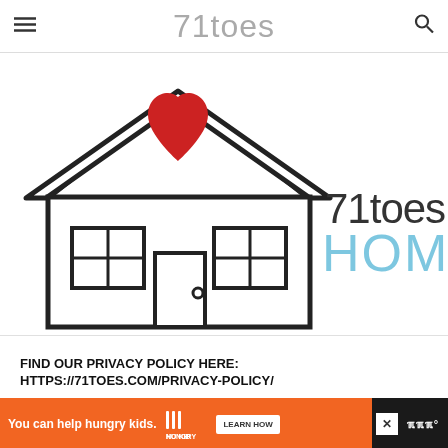71toes
[Figure (illustration): 71toes HOME logo: outline drawing of a house with a red heart above the door, windows on either side; text '71toes' in dark and 'HOME' in light blue to the right of the house]
FIND OUR PRIVACY POLICY HERE: HTTPS://71TOES.COM/PRIVACY-POLICY/
[Figure (other): Advertisement banner: orange background with text 'You can help hungry kids.' and No Kid Hungry logo and LEARN HOW button; dark background on right with close X button and WM logo]